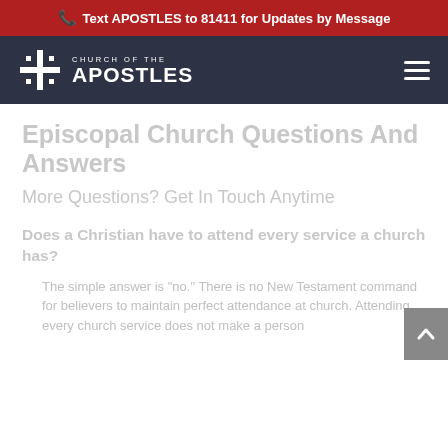Text APOSTLES to 81411 for Updates by Message
[Figure (logo): Church of the Apostles logo with cross emblem on dark navy background with hamburger menu icon]
Episcopal Church Questions And Answers
More Questions? Get In Touch Anytime
Does a Christian have to attend every service a church has?
The simple answer is 'no.' There is no New Testament command for believers to maintain perfect attendance at church. Attending every church service does not make a person